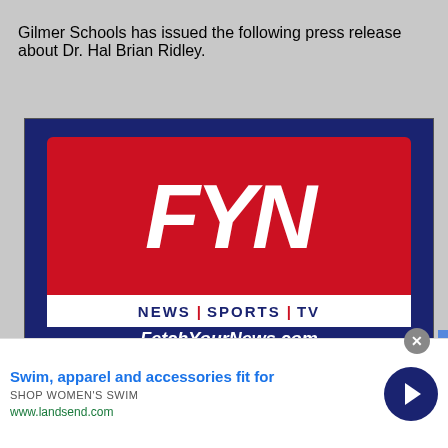Gilmer Schools has issued the following press release about Dr. Hal Brian Ridley.
[Figure (logo): FetchYourNews.com advertisement banner on dark navy background. Shows large FYN letters in white on red, with NEWS | SPORTS | TV strip, FetchYourNews.com URL, tagline 'We're here to serve the needs of the community', and partial text 'You can help in that mission by becoming a']
[Figure (infographic): Bottom advertisement strip: 'Swim, apparel and accessories fit for' in blue bold text, 'SHOP WOMEN'S SWIM' in gray, 'www.landsend.com' in green, with navy circle arrow button on right. Close button (x) visible.]